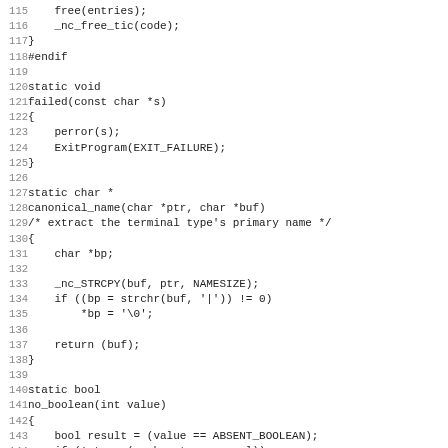[Figure (other): Source code listing in C, lines 115-147, showing functions: _nc_free_tic, failed, canonical_name, and no_boolean]